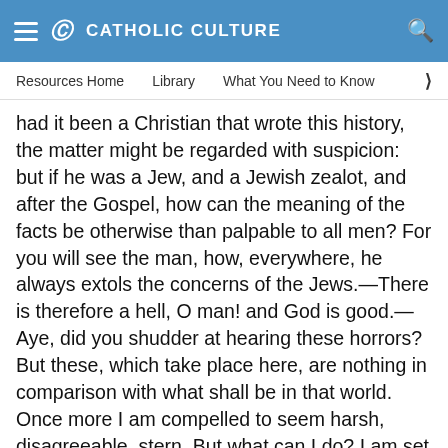CATHOLIC CULTURE
Resources Home   Library   What You Need to Know
had it been a Christian that wrote this history, the matter might be regarded with suspicion: but if he was a Jew, and a Jewish zealot, and after the Gospel, how can the meaning of the facts be otherwise than palpable to all men? For you will see the man, how, everywhere, he always extols the concerns of the Jews.—There is therefore a hell, O man! and God is good.—Aye, did you shudder at hearing these horrors? But these, which take place here, are nothing in comparison with what shall be in that world. Once more I am compelled to seem harsh, disagreeable, stern. But what can I do? I am set to this: just as a severe schoolmaster is set to be hated by his scholars: so are we. For would it not be strange indeed, that, while those who have a certain post assigned them by kings do that which is appointed